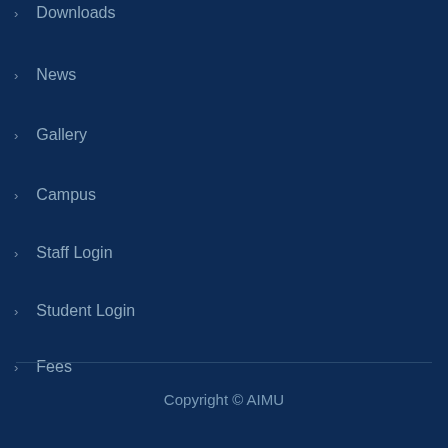Downloads
News
Gallery
Campus
Staff Login
Student Login
Fees
Applications FAQ
Contact Us
Copyright © AIMU